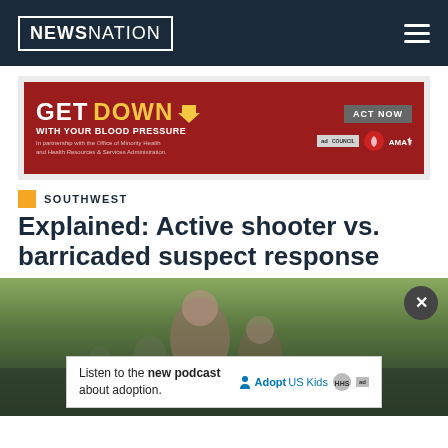NEWSNATION
[Figure (other): Advertisement banner: GET DOWN WITH YOUR BLOOD PRESSURE - Act Now - ad council, AHA, AMA logos]
SOUTHWEST
Explained: Active shooter vs. barricaded suspect response
[Figure (photo): Outdoor scene with people in background, trees visible, blurred/out of focus]
[Figure (other): Advertisement: Listen to the new podcast about adoption. Adopt US Kids, HHS, ad council logos]